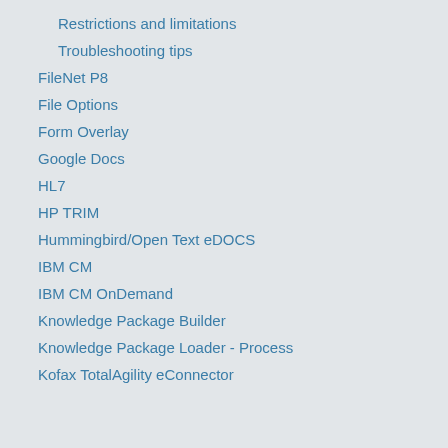Restrictions and limitations
Troubleshooting tips
FileNet P8
File Options
Form Overlay
Google Docs
HL7
HP TRIM
Hummingbird/Open Text eDOCS
IBM CM
IBM CM OnDemand
Knowledge Package Builder
Knowledge Package Loader - Process
Kofax TotalAgility eConnector